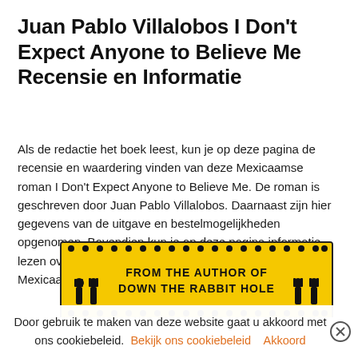Juan Pablo Villalobos I Don't Expect Anyone to Believe Me Recensie en Informatie
Als de redactie het boek leest, kun je op deze pagina de recensie en waardering vinden van deze Mexicaamse roman I Don't Expect Anyone to Believe Me. De roman is geschreven door Juan Pablo Villalobos. Daarnaast zijn hier gegevens van de uitgave en bestelmogelijkheden opgenomen. Bovendien kun je op deze pagina informatie lezen over de inhoud van deze nieuwe roman van de Mexicaanse schrijver Juan Pablo Villalobos.
[Figure (illustration): Book banner with yellow background reading 'FROM THE AUTHOR OF DOWN THE RABBIT HOLE' with decorative black figures and dotted border]
Door gebruik te maken van deze website gaat u akkoord met ons cookiebeleid.  Bekijk ons cookiebeleid    Akkoord